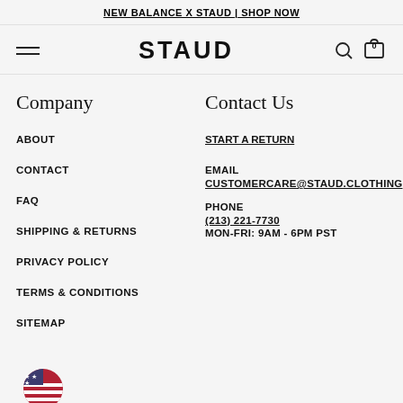NEW BALANCE X STAUD | SHOP NOW
[Figure (logo): STAUD brand logo with hamburger menu, search icon, and cart icon showing 0]
Company
ABOUT
CONTACT
FAQ
SHIPPING & RETURNS
PRIVACY POLICY
TERMS & CONDITIONS
SITEMAP
Contact Us
START A RETURN
EMAIL CUSTOMERCARE@STAUD.CLOTHING
PHONE (213) 221-7730 MON-FRI: 9AM - 6PM PST
[Figure (illustration): US flag circle icon at bottom left]